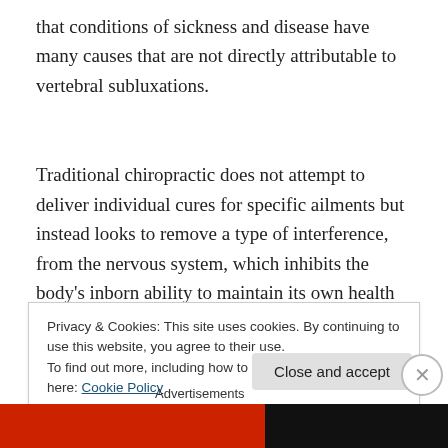that conditions of sickness and disease have many causes that are not directly attributable to vertebral subluxations.
Traditional chiropractic does not attempt to deliver individual cures for specific ailments but instead looks to remove a type of interference, from the nervous system, which inhibits the body's inborn ability to maintain its own health naturally.
Privacy & Cookies: This site uses cookies. By continuing to use this website, you agree to their use.
To find out more, including how to control cookies, see here: Cookie Policy
Advertisements